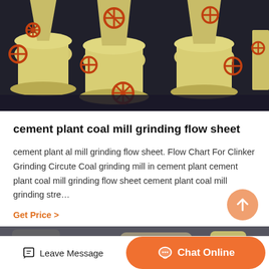[Figure (photo): Multiple yellow industrial grinding mills/crushers arranged in a factory floor, showing circular valve handles and funnel-shaped bodies.]
cement plant coal mill grinding flow sheet
cement plant al mill grinding flow sheet. Flow Chart For Clinker Grinding Circute Coal grinding mill in cement plant cement plant coal mill grinding flow sheet cement plant coal mill grinding stre…
Get Price  >
[Figure (photo): Partial view of industrial plant equipment, bottom edge of page.]
Leave Message   Chat Online